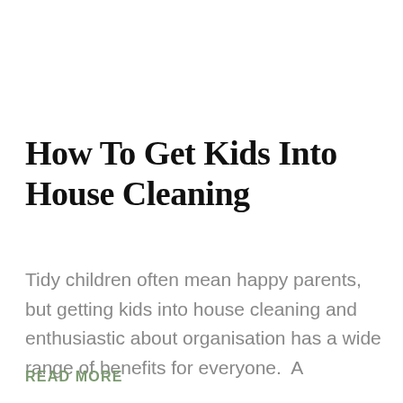How To Get Kids Into House Cleaning
Tidy children often mean happy parents, but getting kids into house cleaning and enthusiastic about organisation has a wide range of benefits for everyone.  A
READ MORE